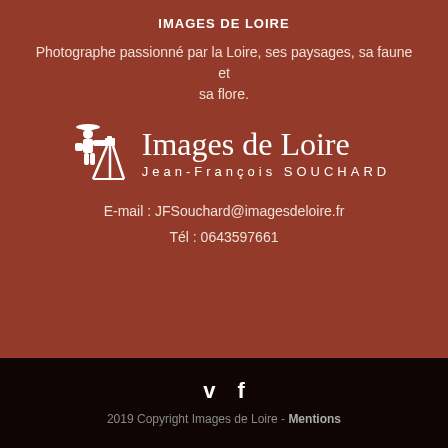IMAGES DE LOIRE
Photographe passionné par la Loire, ses paysages, sa faune et sa flore.
[Figure (logo): Images de Loire logo with silhouette of photographer on tripod and text 'Images de Loire / Jean-François SOUCHARD']
E-mail : JFSouchard@imagesdeloire.fr
Tél : 0643597661
[Figure (other): Social media icons: Vimeo (v) and Facebook (f)]
2019 Copyright Images de Loire - Mentions